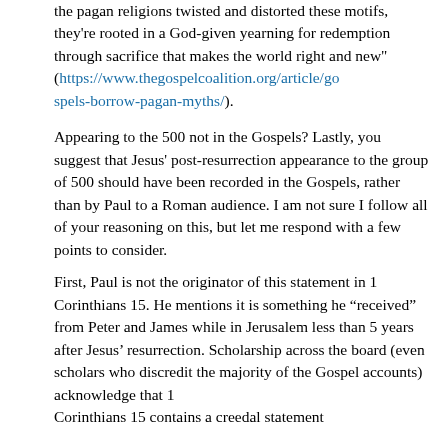the pagan religions twisted and distorted these motifs, they're rooted in a God-given yearning for redemption through sacrifice that makes the world right and new" (https://www.thegospelcoalition.org/article/gospels-borrow-pagan-myths/).
Appearing to the 500 not in the Gospels? Lastly, you suggest that Jesus' post-resurrection appearance to the group of 500 should have been recorded in the Gospels, rather than by Paul to a Roman audience. I am not sure I follow all of your reasoning on this, but let me respond with a few points to consider.
First, Paul is not the originator of this statement in 1 Corinthians 15. He mentions it is something he "received" from Peter and James while in Jerusalem less than 5 years after Jesus' resurrection. Scholarship across the board (even scholars who discredit the majority of the Gospel accounts) acknowledge that 1 Corinthians 15 contains a creedal statement